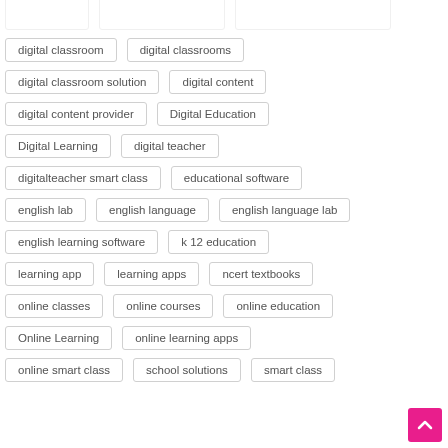digital classroom
digital classrooms
digital classroom solution
digital content
digital content provider
Digital Education
Digital Learning
digital teacher
digitalteacher smart class
educational software
english lab
english language
english language lab
english learning software
k 12 education
learning app
learning apps
ncert textbooks
online classes
online courses
online education
Online Learning
online learning apps
online smart class
school solutions
smart class